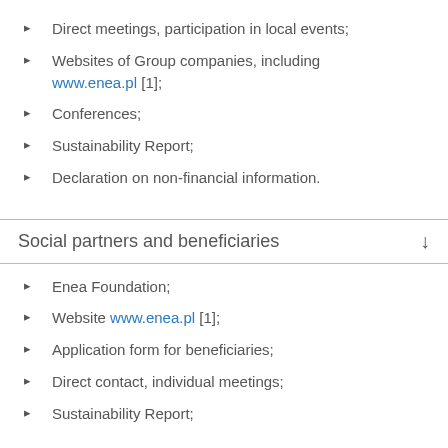Direct meetings, participation in local events;
Websites of Group companies, including www.enea.pl [1];
Conferences;
Sustainability Report;
Declaration on non-financial information.
Social partners and beneficiaries
Enea Foundation;
Website www.enea.pl [1];
Application form for beneficiaries;
Direct contact, individual meetings;
Sustainability Report;